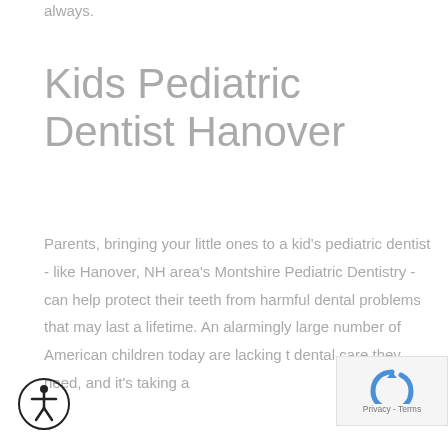always.
Kids Pediatric Dentist Hanover
Parents, bringing your little ones to a kid's pediatric dentist - like Hanover, NH area's Montshire Pediatric Dentistry - can help protect their teeth from harmful dental problems that may last a lifetime. An alarmingly large number of American children today are lacking the dental care they need, and it's taking a